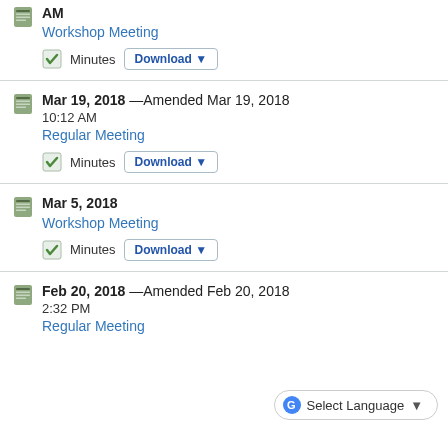AM Workshop Meeting — Minutes Download
Mar 19, 2018 —Amended Mar 19, 2018 10:12 AM Regular Meeting — Minutes Download
Mar 5, 2018 Workshop Meeting — Minutes Download
Feb 20, 2018 —Amended Feb 20, 2018 2:32 PM Regular Meeting